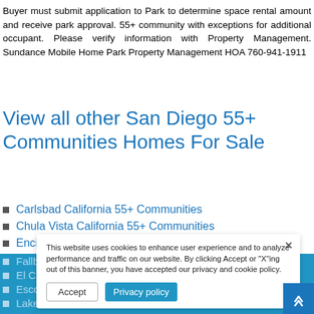Buyer must submit application to Park to determine space rental amount and receive park approval. 55+ community with exceptions for additional occupant. Please verify information with Property Management. Sundance Mobile Home Park Property Management HOA 760-941-1911
View all other San Diego 55+ Communities Homes For Sale
Carlsbad California 55+ Communities
Chula Vista California 55+ Communities
Encinitas California 55+ Communities
Fallbrook California 55+ Communities
El Cajon California 55+ Communities
Escondido California 55+ Communities
Lake San Marcos 55+ Communities
Lakeside California 55+ Communities
Oceanside California 55+ Communities
This website uses cookies to enhance user experience and to analyze performance and traffic on our website. By clicking Accept or "X"ing out of this banner, you have accepted our privacy and cookie policy.